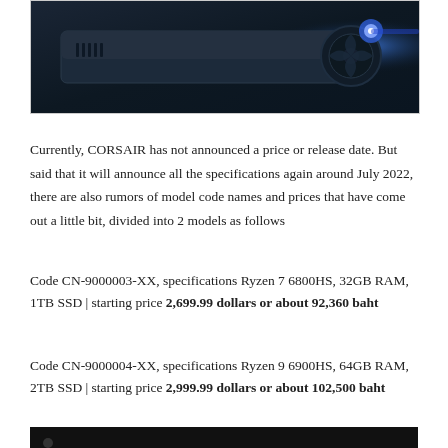[Figure (photo): Product photo of CORSAIR gaming device (likely a gaming laptop or peripheral) on a dark blue background, partially cropped at the top. Shows sleek dark hardware with glowing blue lighting on the right side.]
Currently, CORSAIR has not announced a price or release date. But said that it will announce all the specifications again around July 2022, there are also rumors of model code names and prices that have come out a little bit, divided into 2 models as follows
Code CN-9000003-XX, specifications Ryzen 7 6800HS, 32GB RAM, 1TB SSD | starting price 2,699.99 dollars or about 92,360 baht
Code CN-9000004-XX, specifications Ryzen 9 6900HS, 64GB RAM, 2TB SSD | starting price 2,999.99 dollars or about 102,500 baht
[Figure (photo): Bottom portion of another image, appears to be a dark/black background, cropped at bottom edge of page.]